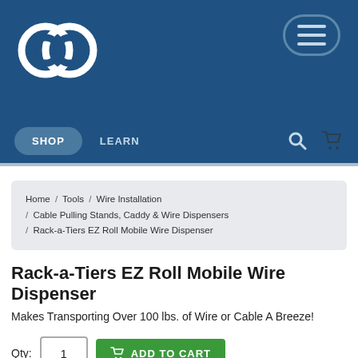Navigation header with logo, hamburger menu, SHOP and LEARN links, search and cart icons
Home / Tools / Wire Installation / Cable Pulling Stands, Caddy & Wire Dispensers / Rack-a-Tiers EZ Roll Mobile Wire Dispenser
Rack-a-Tiers EZ Roll Mobile Wire Dispenser
Makes Transporting Over 100 lbs. of Wire or Cable A Breeze!
Qty: 1  ADD TO CART